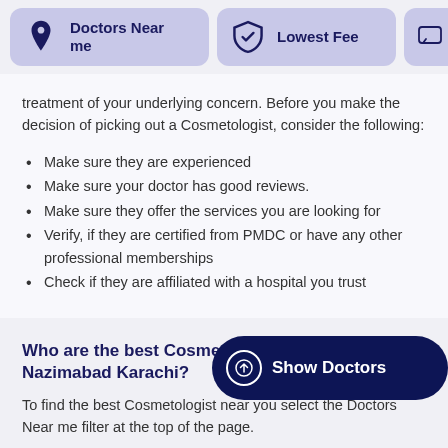[Figure (infographic): Navigation bar with 'Doctors Near me' card (location pin icon), 'Lowest Fee' card (shield icon), and a partially visible chat icon card]
treatment of your underlying concern. Before you make the decision of picking out a Cosmetologist, consider the following:
Make sure they are experienced
Make sure your doctor has good reviews.
Make sure they offer the services you are looking for
Verify, if they are certified from PMDC or have any other professional memberships
Check if they are affiliated with a hospital you trust
Who are the best Cosmetologists in Nazimabad Karachi?
To find the best Cosmetologist near you select the Doctors Near me filter at the top of the page.